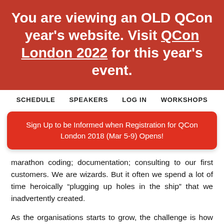You are viewing an OLD QCon year's website. Visit QCon London 2022 for this year's event.
SCHEDULE   SPEAKERS   LOG IN   WORKSHOPS
Sign Up to be Informed when Registration for QCon London 2018 (Mar 5-9) Opens!
marathon coding; documentation; consulting to our first customers. We are wizards. But it often we spend a lot of time heroically “plugging up holes in the ship” that we inadvertently created.
As the organisations starts to grow, the challenge is how we can become more productive and often means that we have replace heroics with solid methodical techniques. This can be hard, at times it feels like giving